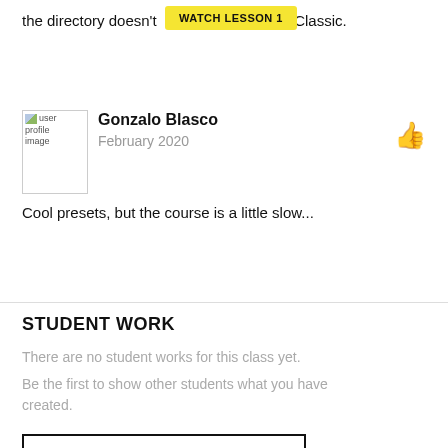the directory doesn't find for you in Lightroom Classic.
[Figure (other): Yellow highlight button labeled WATCH LESSON 1]
[Figure (other): User profile image placeholder (broken image icon)]
Gonzalo Blasco
February 2020
[Figure (other): Thumbs up icon]
Cool presets, but the course is a little slow...
STUDENT WORK
There are no student works for this class yet.
Be the first to show other students what you have created.
UPLOAD TO GALLERY